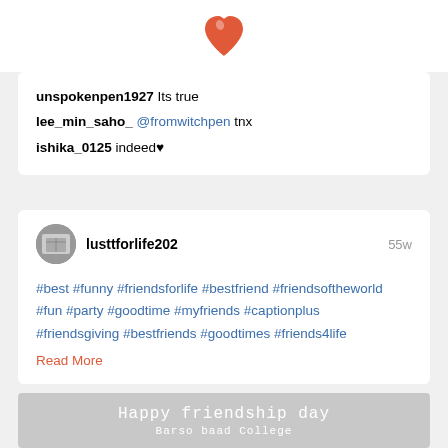[Figure (logo): Red heart/droplet shaped logo centered at top]
unspokenpen1927 Its true
lee_min_saho_ @fromwitchpen tnx
ishika_0125 indeed♥
lusttforlife202   55w
#best #funny #friendsforlife #bestfriend #friendsoftheworld #fun #party #goodtime #myfriends #captionplus #friendsgiving #bestfriends #goodtimes #friends4life
Read More
[Figure (photo): Gray image with text: Happy friendship day / Barso baad College]